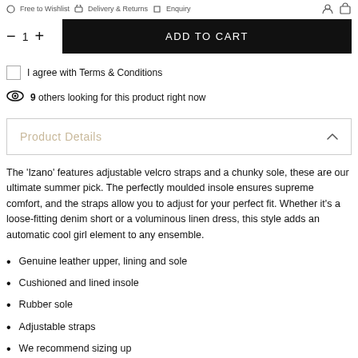Free to Wishlist  |  Delivery & Returns  |  Enquiry
ADD TO CART
I agree with Terms & Conditions
9 others looking for this product right now
Product Details
The 'Izano' features adjustable velcro straps and a chunky sole, these are our ultimate summer pick. The perfectly moulded insole ensures supreme comfort, and the straps allow you to adjust for your perfect fit. Whether it's a loose-fitting denim short or a voluminous linen dress, this style adds an automatic cool girl element to any ensemble.
Genuine leather upper, lining and sole
Cushioned and lined insole
Rubber sole
Adjustable straps
We recommend sizing up